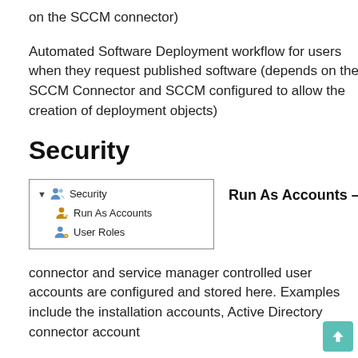on the SCCM connector)
Automated Software Deployment workflow for users when they request published software (depends on the SCCM Connector and SCCM configured to allow the creation of deployment objects)
Security
[Figure (screenshot): Tree navigation panel showing Security node expanded with Run As Accounts and User Roles children, alongside label 'Run As Accounts –']
connector and service manager controlled user accounts are configured and stored here. Examples include the installation accounts, Active Directory connector account